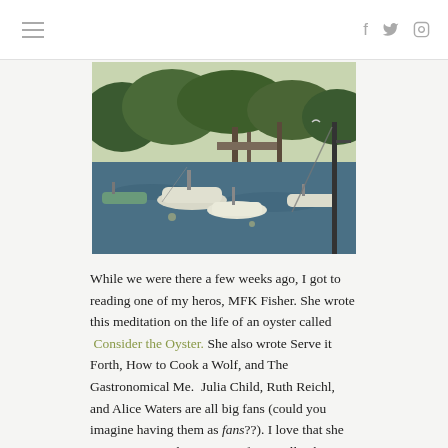≡  f  🐦  ⬜
[Figure (photo): Boats moored in a harbor with trees and docks in the background on a sunny day]
While we were there a few weeks ago, I got to reading one of my heros, MFK Fisher. She wrote this meditation on the life of an oyster called Consider the Oyster. She also wrote Serve it Forth, How to Cook a Wolf, and The Gastronomical Me.  Julia Child, Ruth Reichl, and Alice Waters are all big fans (could you imagine having them as fans??). I love that she was a woman who wrote professionally about food before social media and the Food